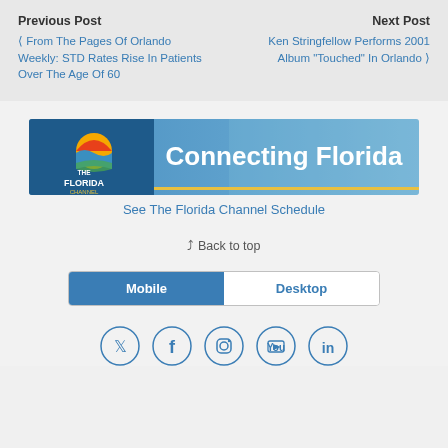Previous Post
< From The Pages Of Orlando Weekly: STD Rates Rise In Patients Over The Age Of 60
Next Post
Ken Stringfellow Performs 2001 Album "Touched" In Orlando >
[Figure (other): The Florida Channel banner - Connecting Florida]
See The Florida Channel Schedule
Back to top
Mobile | Desktop
[Figure (other): Social media icons: Twitter, Facebook, Instagram, YouTube, LinkedIn]